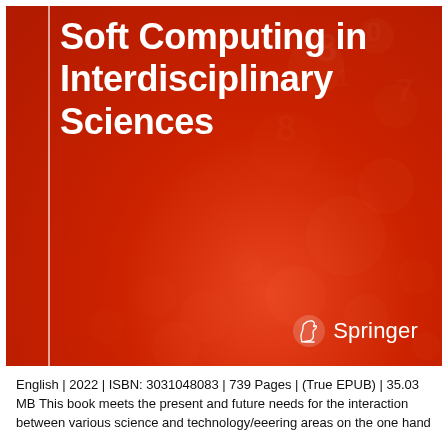[Figure (illustration): Book cover of 'Soft Computing in Interdisciplinary Sciences' published by Springer. Red background with bokeh-style blurred numbers and digits. White bold title text on upper left with a thin vertical white stripe. Springer logo with horse/knight chess piece icon in lower right.]
English | 2022 | ISBN: 3031048083 | 739 Pages | (True EPUB) | 35.03 MB This book meets the present and future needs for the interaction between various science and technology/eeering areas on the one hand